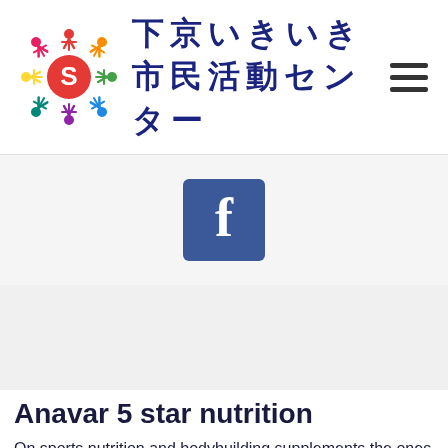下京いきいき市民活動センター
[Figure (logo): Facebook logo icon — blue rounded square with white letter f]
Anavar 5 star nutrition
On sports nutrition and bodybuilding supplements the ones that are sold lawfully in sports nutrition stores or onlineare the ones that are free of harmful ingredients in them, and are the ones that will help you get stronger, lose weight and get stronger.